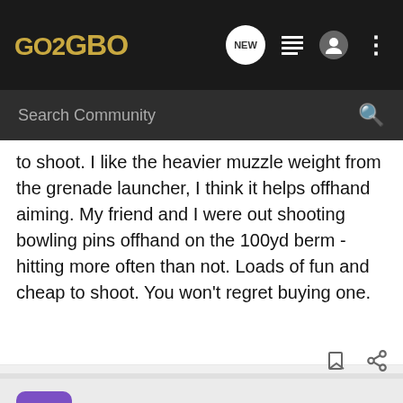GO2GBO
to shoot. I like the heavier muzzle weight from the grenade launcher, I think it helps offhand aiming. My friend and I were out shooting bowling pins offhand on the 100yd berm - hitting more often than not. Loads of fun and cheap to shoot. You won't regret buying one.
Bigdog · Registered
Joined Dec 2, 2002 · 39 Posts
#4 · Jan 7, 2003
Definite...ots about 6...nd
[Figure (screenshot): Bass Pro Shops Hunting Bargain Clearance advertisement banner with Shop Now button]